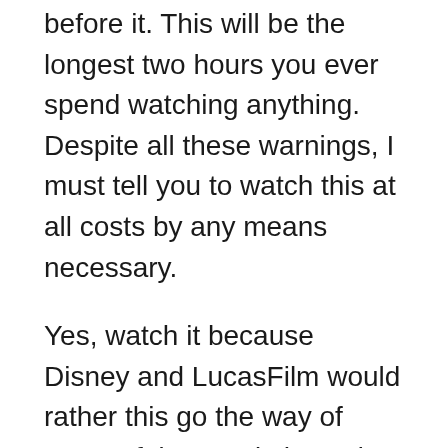before it. This will be the longest two hours you ever spend watching anything. Despite all these warnings, I must tell you to watch this at all costs by any means necessary.
Yes, watch it because Disney and LucasFilm would rather this go the way of Song of the South than The Mandalorian, but failures of this magnitude need to be lifted up to the sky as evidence of our frailty. We make mistakes, but its how we recover from those mistakes that define us. Star Wars, the most popular franchise in the world, could have destroyed everything with the release of this